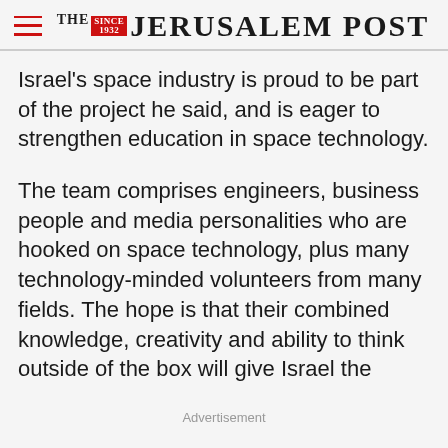THE JERUSALEM POST
Israel’s space industry is proud to be part of the project he said, and is eager to strengthen education in space technology.
The team comprises engineers, business people and media personalities who are hooked on space technology, plus many technology-minded volunteers from many fields. The hope is that their combined knowledge, creativity and ability to think outside of the box will give Israel the
Advertisement